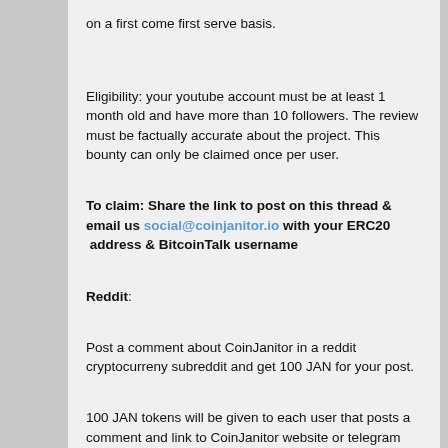on a first come first serve basis.
Eligibility: your youtube account must be at least 1 month old and have more than 10 followers. The review must be factually accurate about the project. This bounty can only be claimed once per user.
To claim: Share the link to post on this thread & email us social@coinjanitor.io with your ERC20 address & BitcoinTalk username
Reddit:
Post a comment about CoinJanitor in a reddit cryptocurreny subreddit and get 100 JAN for your post.
100 JAN tokens will be given to each user that posts a comment and link to CoinJanitor website or telegram group.
The total amount of tokens available for this bounty is 100,000 JAN, rewarding a maximum of 1000 users on a first come first serve basis.
Eligibility: your reddit account must be at least 1